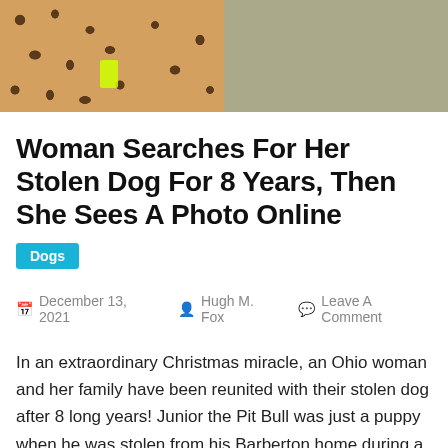[Figure (photo): Two side-by-side photos: left shows a person wearing leopard-print clothing with a neon yellow item; right shows a light-colored dog lying on pavement.]
Woman Searches For Her Stolen Dog For 8 Years, Then She Sees A Photo Online
Dogs
December 13, 2021  Hugh M. Fox  Leave A Comment
In an extraordinary Christmas miracle, an Ohio woman and her family have been reunited with their stolen dog after 8 long years! Junior the Pit Bull was just a puppy when he was stolen from his Barberton home during a home invasion in 2012. However, mom Julia Nemeth never gave up on her search for Junior, as she kept striving years after